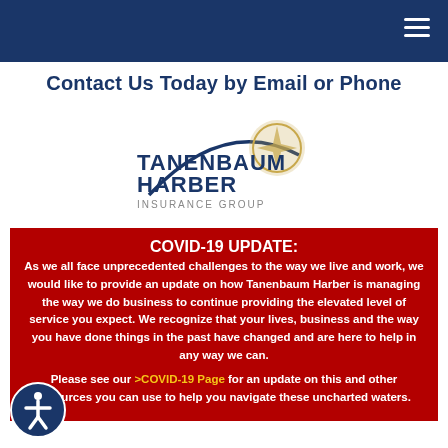Navigation bar with hamburger menu
Contact Us Today by Email or Phone
[Figure (logo): Tanenbaum Harber Insurance Group logo with blue arc and gold compass rose emblem]
COVID-19 UPDATE:
As we all face unprecedented challenges to the way we live and work, we would like to provide an update on how Tanenbaum Harber is managing the way we do business to continue providing the elevated level of service you expect. We recognize that your lives, business and the way you have done things in the past have changed and are here to help in any way we can.

Please see our >COVID-19 Page for an update on this and other resources you can use to help you navigate these uncharted waters.